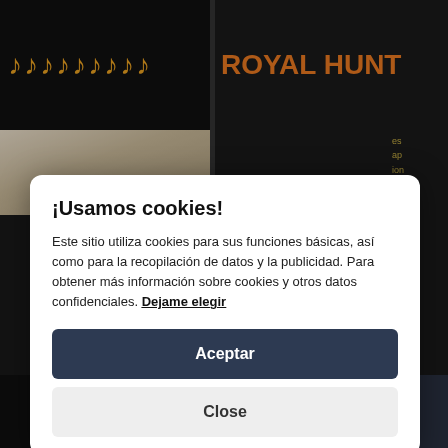[Figure (screenshot): Dark background website with music notes in orange/gold color on top left and 'ROYAL HUNT' text in orange on top right]
¡Usamos cookies!
Este sitio utiliza cookies para sus funciones básicas, así como para la recopilación de datos y la publicidad. Para obtener más información sobre cookies y otros datos confidenciales. Dejame elegir
Aceptar
Close